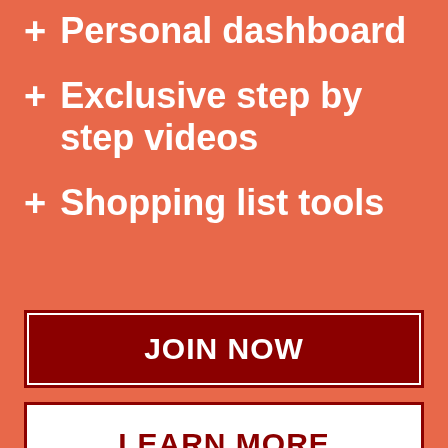+ Personal dashboard
+ Exclusive step by step videos
+ Shopping list tools
JOIN NOW
LEARN MORE